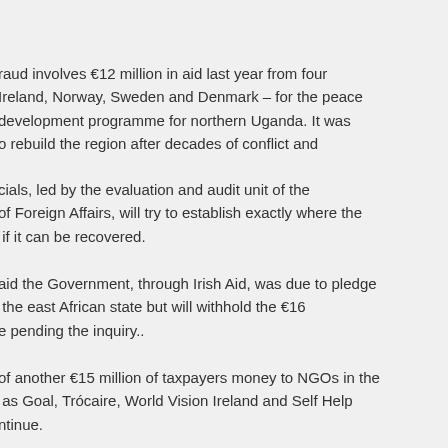raud involves €12 million in aid last year from four Ireland, Norway, Sweden and Denmark – for the peace development programme for northern Uganda. It was o rebuild the region after decades of conflict and
cials, led by the evaluation and audit unit of the of Foreign Affairs, will try to establish exactly where the if it can be recovered.
aid the Government, through Irish Aid, was due to pledge the east African state but will withhold the €16 e pending the inquiry..
of another €15 million of taxpayers money to NGOs in the as Goal, Trócaire, World Vision Ireland and Self Help ntinue.
said Ireland has a strong programme in the region, which dfully from internal conflict and ravages of Joseph Kony lled Lord's Resistance Army.
at's provided to provide schools, to address the huge